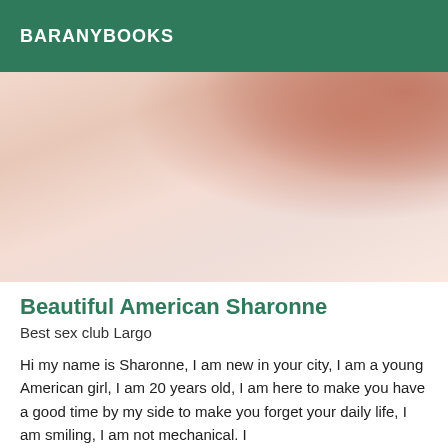BARANYBOOKS
[Figure (photo): Close-up photo showing fabric/bedding texture with skin tones, pink and peach hues]
Beautiful American Sharonne
Best sex club Largo
Hi my name is Sharonne, I am new in your city, I am a young American girl, I am 20 years old, I am here to make you have a good time by my side to make you forget your daily life, I am smiling, I am not mechanical. I